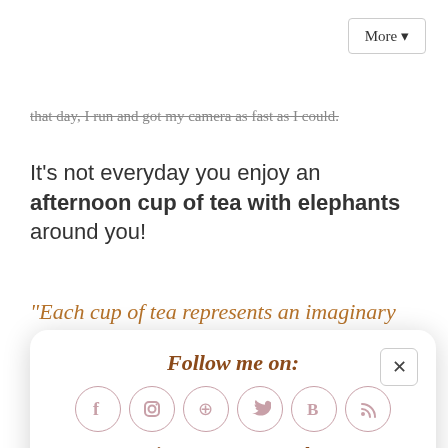More ▼
that day, I run and got my camera as fast as I could.
It's not everyday you enjoy an afternoon cup of tea with elephants around you!
“Each cup of tea represents an imaginary
[Figure (screenshot): Follow me on social media popup with Facebook, Instagram, Pinterest, Twitter, Bloglovin, RSS icons and newsletter signup form with Subscribe input and Sign Up button]
Follow me on:
Or sign up to my newsletter
Subscribe
Sign Up!